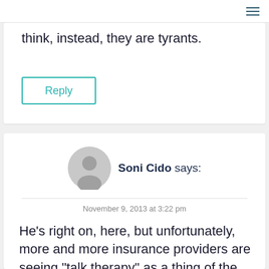think, instead, they are tyrants.
Reply
Soni Cido says:
November 9, 2013 at 3:22 pm
He's right on, here, but unfortunately, more and more insurance providers are seeing "talk therapy" as a thing of the past, and feel-good drugs are the best way to handle people with emotional issues...